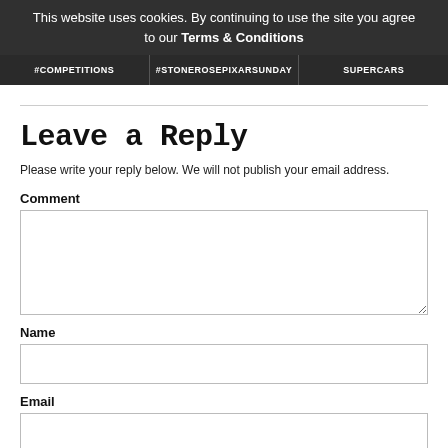This website uses cookies. By continuing to use the site you agree to our Terms & Conditions
[Figure (screenshot): Navigation bar with COMPETITIONS, STONEROSEPIXARSUNDAY, SUPERCARS tabs]
Leave a Reply
Please write your reply below. We will not publish your email address.
Comment
Name
Email